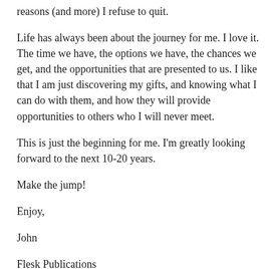reasons (and more) I refuse to quit.
Life has always been about the journey for me. I love it. The time we have, the options we have, the chances we get, and the opportunities that are presented to us. I like that I am just discovering my gifts, and knowing what I can do with them, and how they will provide opportunities to others who I will never meet.
This is just the beginning for me. I'm greatly looking forward to the next 10-20 years.
Make the jump!
Enjoy,
John
Flesk Publications